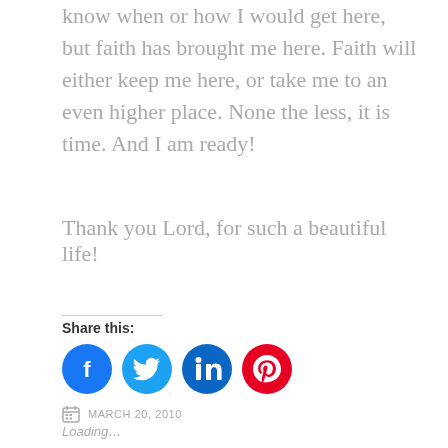know when or how I would get here, but faith has brought me here. Faith will either keep me here, or take me to an even higher place. None the less, it is time. And I am ready!
Thank you Lord, for such a beautiful life!
Share this:
[Figure (infographic): Four social media share buttons: Facebook (blue circle with f icon), Twitter (light blue circle with bird icon), LinkedIn (teal circle with in icon), Pinterest (red circle with P icon)]
Loading...
MARCH 20, 2010